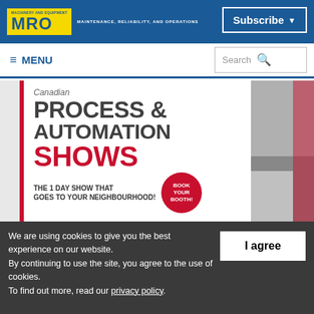MRO - MACHINERY AND EQUIPMENT - MAINTENANCE, RELIABILITY, AND OPERATIONS | Subscribe
≡ MENU
[Figure (screenshot): Canadian Process & Automation Shows advertisement banner with red and grey color scheme, showing 'BOOK YOUR BOOTH!' circle badge and tagline 'THE 1 DAY SHOW THAT GOES TO YOUR NEIGHBOURHOOD!']
We are using cookies to give you the best experience on our website. By continuing to use the site, you agree to the use of cookies. To find out more, read our privacy policy.
I agree